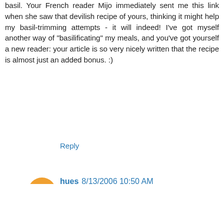basil. Your French reader Mijo immediately sent me this link when she saw that devilish recipe of yours, thinking it might help my basil-trimming attempts - it will indeed! I've got myself another way of "basilificating" my meals, and you've got yourself a new reader: your article is so very nicely written that the recipe is almost just an added bonus. :)
Reply
hues 8/13/2006 10:50 AM
Hello- again- just thinking that some of the folks here might want to check out "Simply in Season" a great cookbook too, local, seasonal foods. Anyone read it?
Also- Susan are you a vegan/vegetarian? Just wondering...
Thanks!
Reply
Kat 8/13/2006 11:18 AM
Oh YUM! That looks lovely! If I nudge you will you post the pecorino cracker recipe? That sounds good too.